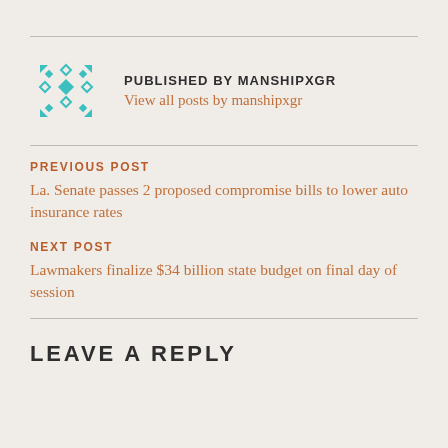[Figure (logo): Teal geometric snowflake/diamond pattern logo for manshipxgr]
PUBLISHED BY MANSHIPXGR
View all posts by manshipxgr
PREVIOUS POST
La. Senate passes 2 proposed compromise bills to lower auto insurance rates
NEXT POST
Lawmakers finalize $34 billion state budget on final day of session
LEAVE A REPLY